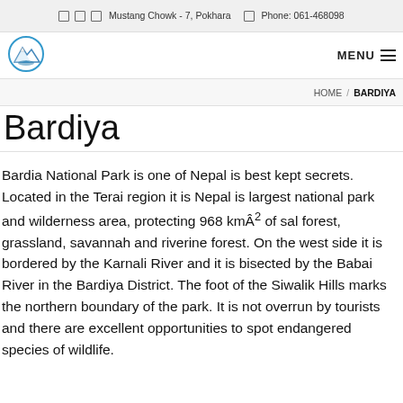Mustang Chowk - 7, Pokhara   Phone: 061-468098
[Figure (logo): Travel company logo with mountain and boat imagery]
MENU
HOME / BARDIYA
Bardiya
Bardia National Park is one of Nepal is best kept secrets. Located in the Terai region it is Nepal is largest national park and wilderness area, protecting 968 kmÂ² of sal forest, grassland, savannah and riverine forest. On the west side it is bordered by the Karnali River and it is bisected by the Babai River in the Bardiya District. The foot of the Siwalik Hills marks the northern boundary of the park. It is not overrun by tourists and there are excellent opportunities to spot endangered species of wildlife.